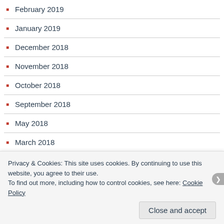February 2019
January 2019
December 2018
November 2018
October 2018
September 2018
May 2018
March 2018
February 2018
December 2017
Privacy & Cookies: This site uses cookies. By continuing to use this website, you agree to their use. To find out more, including how to control cookies, see here: Cookie Policy
Close and accept